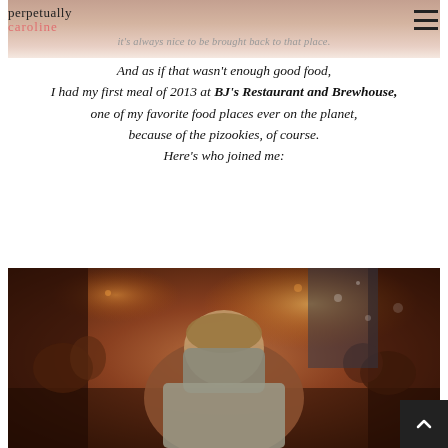perpetually caroline
it's always nice to be brought back to that place.
And as if that wasn't enough good food, I had my first meal of 2013 at BJ's Restaurant and Brewhouse, one of my favorite food places ever on the planet, because of the pizookies, of course. Here's who joined me:
[Figure (photo): A person sitting at a restaurant table with their face hidden behind their hands/sleeves, wearing a grey knit sweater. The restaurant background shows warm amber/brown lighting, other diners, and framed artwork on dark walls.]